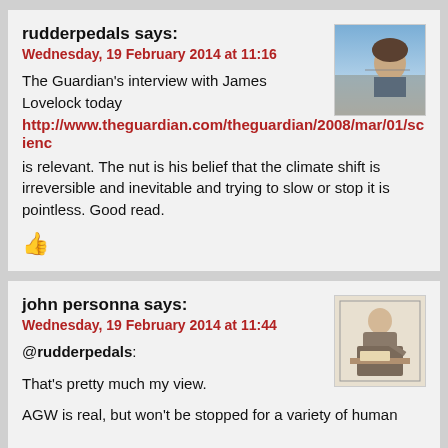rudderpedals says:
Wednesday, 19 February 2014 at 11:16
[Figure (photo): Avatar photo of rudderpedals, showing a person with sky background]
The Guardian's interview with James Lovelock today http://www.theguardian.com/theguardian/2008/mar/01/scienc is relevant. The nut is his belief that the climate shift is irreversible and inevitable and trying to slow or stop it is pointless. Good read.
👍
john personna says:
Wednesday, 19 February 2014 at 11:44
[Figure (illustration): Avatar illustration of john personna, showing a medieval scribe figure]
@rudderpedals:
That's pretty much my view.
AGW is real, but won't be stopped for a variety of human